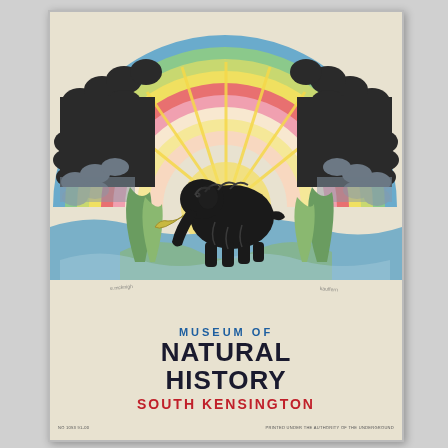[Figure (illustration): Vintage Art Deco poster for Museum of Natural History, South Kensington. Features a colorful rainbow arch with radiating yellow sunbeams, stylized dark cloud-like formations on either side, a woolly mammoth silhouette in black at the center, and decorative plant/foliage elements at the bottom. Text reads: MUSEUM OF NATURAL HISTORY SOUTH KENSINGTON.]
MUSEUM OF NATURAL HISTORY SOUTH KENSINGTON